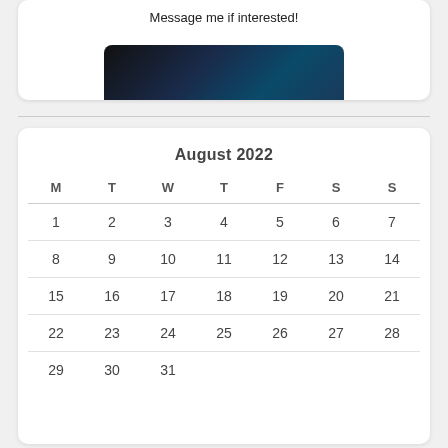Message me if interested!
[Figure (photo): Dark blue/black image partially visible at bottom of top card]
| M | T | W | T | F | S | S |
| --- | --- | --- | --- | --- | --- | --- |
| 1 | 2 | 3 | 4 | 5 | 6 | 7 |
| 8 | 9 | 10 | 11 | 12 | 13 | 14 |
| 15 | 16 | 17 | 18 | 19 | 20 | 21 |
| 22 | 23 | 24 | 25 | 26 | 27 | 28 |
| 29 | 30 | 31 |  |  |  |  |